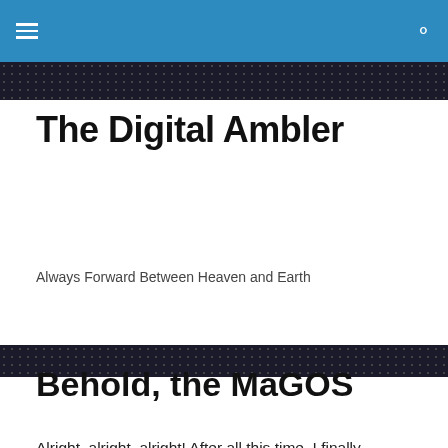≡   🔍
The Digital Ambler
Always Forward Between Heaven and Earth
Behold, the MaGOS
Alright, alright, alright!  After all this time, I finally gathered the last of my supplies, ran my experiments, and have compiled notes and pictures on my orgone system, a variant of the Babalon Matrix.  Gentlefolk and estimable peers of the magical blogosphere and internetical occulture, I present to you the Manifesting and Generating Orgone System, or the MaGOS for short.  (Please don't kill me.)  Click on the link for the full write up and analysis